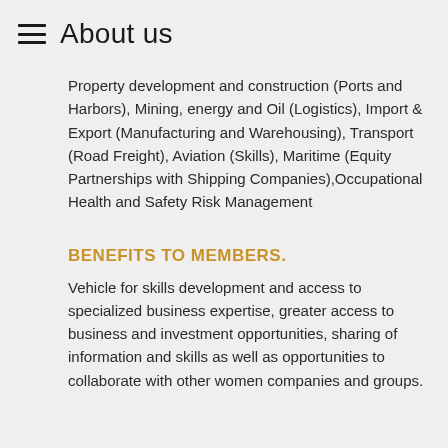About us
Property development and construction (Ports and Harbors), Mining, energy and Oil (Logistics), Import & Export (Manufacturing and Warehousing), Transport (Road Freight), Aviation (Skills), Maritime (Equity Partnerships with Shipping Companies),Occupational Health and Safety Risk Management
BENEFITS TO MEMBERS.
Vehicle for skills development and access to specialized business expertise, greater access to business and investment opportunities, sharing of information and skills as well as opportunities to collaborate with other women companies and groups.